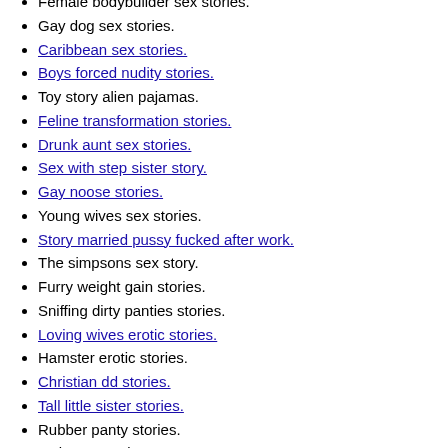Female bodybuilder sex stories.
Gay dog sex stories.
Caribbean sex stories.
Boys forced nudity stories.
Toy story alien pajamas.
Feline transformation stories.
Drunk aunt sex stories.
Sex with step sister story.
Gay noose stories.
Young wives sex stories.
Story married pussy fucked after work.
The simpsons sex story.
Furry weight gain stories.
Sniffing dirty panties stories.
Loving wives erotic stories.
Hamster erotic stories.
Christian dd stories.
Tall little sister stories.
Rubber panty stories.
Urdu sex stories.
Lesbian rimjob stories.
Desi wife swap stories.
Sublime directory.new stories.
Girl dare stories.
Diaper regression story.
First time erection stories.